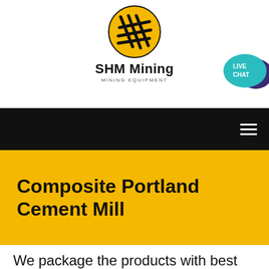[Figure (logo): SHM Mining logo — yellow circular emblem with black diagonal lines/chains, with brand name 'SHM Mining' and subtitle 'MINING EQUIPMENT']
[Figure (infographic): Teal speech bubble with 'LIVE CHAT' text and a dark purple chat bubble overlapping, positioned top-right corner]
[Figure (infographic): Black navigation bar with white hamburger menu icon (three horizontal lines) on the right]
Composite Portland Cement Mill
We package the products with best services to make you a happy